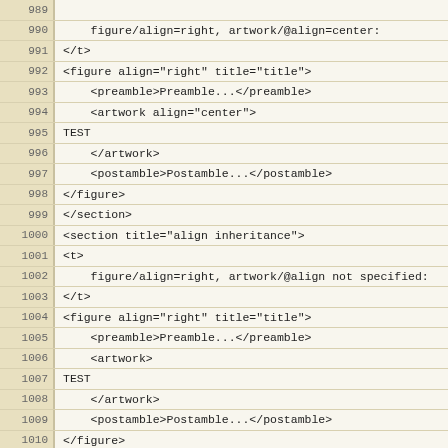Code listing lines 989-1019 showing XML markup for figure alignment and section structure
| line | code |
| --- | --- |
| 989 |  |
| 990 |     figure/align=right, artwork/@align=center: |
| 991 | </t> |
| 992 | <figure align="right" title="title"> |
| 993 |     <preamble>Preamble...</preamble> |
| 994 |     <artwork align="center"> |
| 995 | TEST |
| 996 |     </artwork> |
| 997 |     <postamble>Postamble...</postamble> |
| 998 | </figure> |
| 999 | </section> |
| 1000 | <section title="align inheritance"> |
| 1001 | <t> |
| 1002 |     figure/align=right, artwork/@align not specified: |
| 1003 | </t> |
| 1004 | <figure align="right" title="title"> |
| 1005 |     <preamble>Preamble...</preamble> |
| 1006 |     <artwork> |
| 1007 | TEST |
| 1008 |     </artwork> |
| 1009 |     <postamble>Postamble...</postamble> |
| 1010 | </figure> |
| 1011 | </section> |
| 1012 | </section> |
| 1013 |  |
| 1014 | <section title="titles/numbering" anchor="titles.numbering"> |
| 1015 |  |
| 1016 | <section title="just anchor" anchor="titles.numbering.just.anchor"> |
| 1017 | <figure anchor="just.anchor"> |
| 1018 |     <artwork>FOO</artwork> |
| 1019 | </figure> |